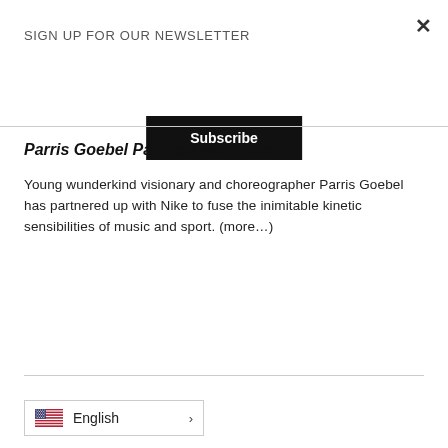SIGN UP FOR OUR NEWSLETTER
Subscribe
Parris Goebel Partners with Nike
Young wunderkind visionary and choreographer Parris Goebel has partnered up with Nike to fuse the inimitable kinetic sensibilities of music and sport. (more…)
English